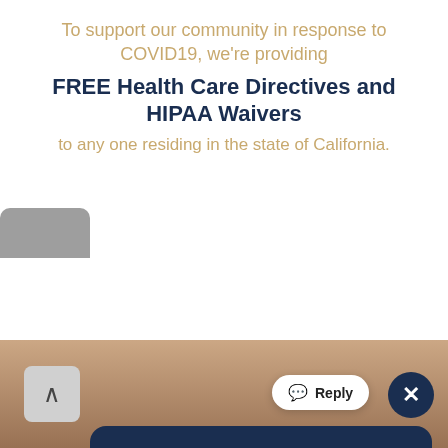To support our community in response to COVID19, we're providing
FREE Health Care Directives and HIPAA Waivers
to any one residing in the state of California.
Welcome to Sky Unlimited Legal Advisory. I'm the law firm's chatbot and can connect you with our attorney or staff! :)

First, what brings you our way today?
[Figure (screenshot): Chat widget from Sky Unlimited Legal Advisory law firm website showing a chatbot welcome message with avatar logo, online badge, dark navy header bar, and reply/close buttons]